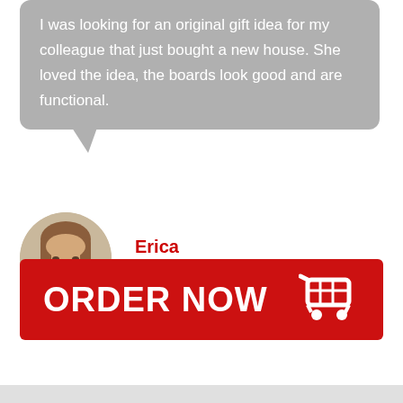I was looking for an original gift idea for my colleague that just bought a new house. She loved the idea, the boards look good and are functional.
Erica
Employee
[Figure (photo): Circular avatar photo of a smiling woman with brown hair]
[Figure (infographic): Red ORDER NOW button with shopping cart icon]